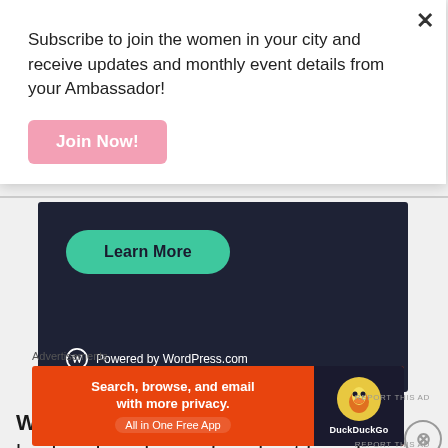Subscribe to join the women in your city and receive updates and monthly event details from your Ambassador!
[Figure (screenshot): Pink 'Join Now!' button on white popup overlay]
[Figure (screenshot): Dark WordPress.com ad banner with green 'Learn More' pill button and 'Powered by WordPress.com' logo text]
Who is your greatest supporter?: My husband, and one of my best friends, Daniella. They
Advertisements
[Figure (screenshot): DuckDuckGo advertisement: 'Search, browse, and email with more privacy. All in One Free App' on orange background with DuckDuckGo duck logo on dark right panel]